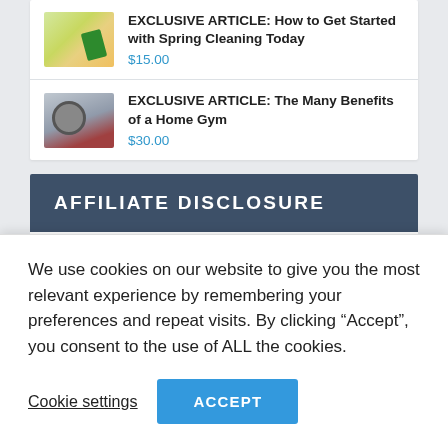[Figure (screenshot): Thumbnail image of spring cleaning (hand with duster, yellow/green tones)]
EXCLUSIVE ARTICLE: How to Get Started with Spring Cleaning Today
$15.00
[Figure (screenshot): Thumbnail image of home gym (clock on wall, red/grey tones)]
EXCLUSIVE ARTICLE: The Many Benefits of a Home Gym
$30.00
AFFILIATE DISCLOSURE
We use cookies on our website to give you the most relevant experience by remembering your preferences and repeat visits. By clicking “Accept”, you consent to the use of ALL the cookies.
Cookie settings
ACCEPT